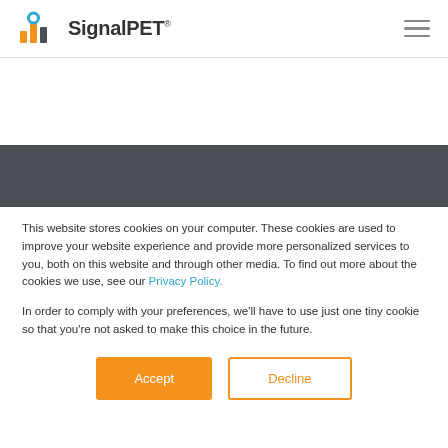SignalPET
This website stores cookies on your computer. These cookies are used to improve your website experience and provide more personalized services to you, both on this website and through other media. To find out more about the cookies we use, see our Privacy Policy.
In order to comply with your preferences, we'll have to use just one tiny cookie so that you're not asked to make this choice in the future.